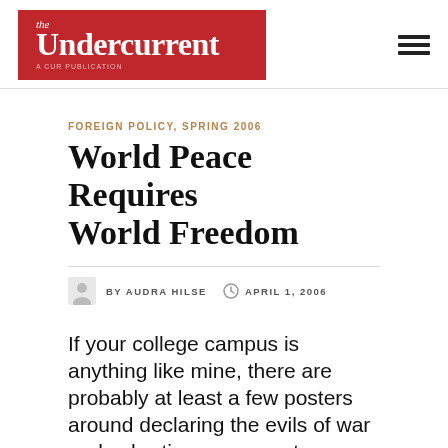the Undercurrent — A CUR Publication
FOREIGN POLICY, SPRING 2006
World Peace Requires World Freedom
BY AUDRA HILSE   APRIL 1, 2006
If your college campus is anything like mine, there are probably at least a few posters around declaring the evils of war and exhorting everyone to